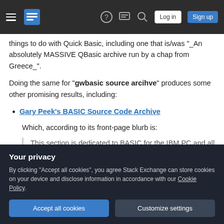Stack Exchange navigation bar with hamburger menu, logo, help, chat, search icons, Log in and Sign up buttons
things to do with Quick Basic, including one that is/was "_ An absolutely MASSIVE QBasic archive run by a chap from Greece_".
Doing the same for "gwbasic source arcihve" produces some other promising results, including:
Gary Peek's BASIC Source Code Archive
Which, according to its front-page blurb is:
This section is dedicated to BASIC for the IBM PC and all the people who
Your privacy
By clicking "Accept all cookies", you agree Stack Exchange can store cookies on your device and disclose information in accordance with our Cookie Policy.
Accept all cookies   Customize settings